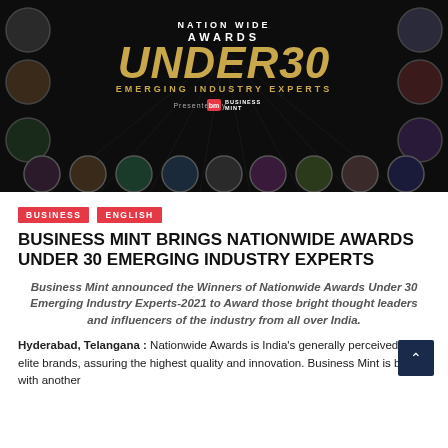[Figure (photo): Nation Wide Awards Under 30 Emerging Industry Experts banner presented by Business Mint, showing a dark background with portraits of young professionals arranged around the central text]
BUSINESS
ENGLISH
BUSINESS MINT BRINGS NATIONWIDE AWARDS UNDER 30 EMERGING INDUSTRY EXPERTS
Business Mint announced the Winners of Nationwide Awards Under 30 Emerging Industry Experts-2021 to Award those bright thought leaders and influencers of the industry from all over India.
Hyderabad, Telangana : Nationwide Awards is India's generally perceived and elite brands, assuring the highest quality and innovation. Business Mint is back with another